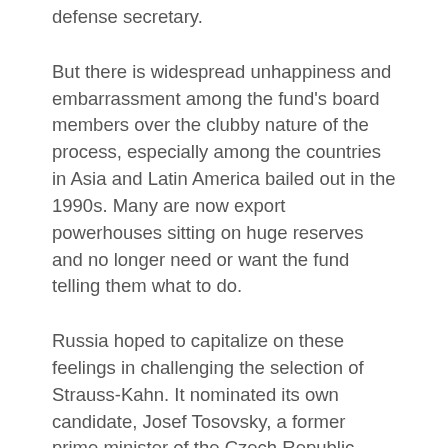defense secretary.
But there is widespread unhappiness and embarrassment among the fund's board members over the clubby nature of the process, especially among the countries in Asia and Latin America bailed out in the 1990s. Many are now export powerhouses sitting on huge reserves and no longer need or want the fund telling them what to do.
Russia hoped to capitalize on these feelings in challenging the selection of Strauss-Kahn. It nominated its own candidate, Josef Tosovsky, a former prime minister of the Czech Republic, who told the board that as a "representative of an emerging market transition economy," he would bring a different perspective to the job.
Aleksei Mozhin, the board director representing Russia at the fund, said his country was "very, very proud" to nominate Tosovsky. "It is an open secret that the fund is deeply in need of having to"